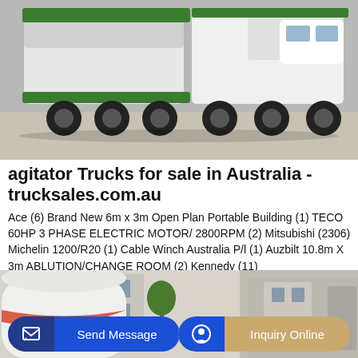[Figure (photo): Photo of large agitator/concrete mixer trucks, white and green, viewed from front-side angle on a light colored ground surface.]
agitator Trucks for sale in Australia - trucksales.com.au
Ace (6) Brand New 6m x 3m Open Plan Portable Building (1) TECO 60HP 3 PHASE ELECTRIC MOTOR/ 2800RPM (2) Mitsubishi (2306) Michelin 1200/R20 (1) Cable Winch Australia P/l (1) Auzbilt 10.8m X 3m ABLUTION/CHANGE ROOM (2) Kennedy (11)
[Figure (photo): Photo of a concrete mixer drum, white with red stripe, in an outdoor industrial setting with buildings in background.]
Send Message
Inquiry Online